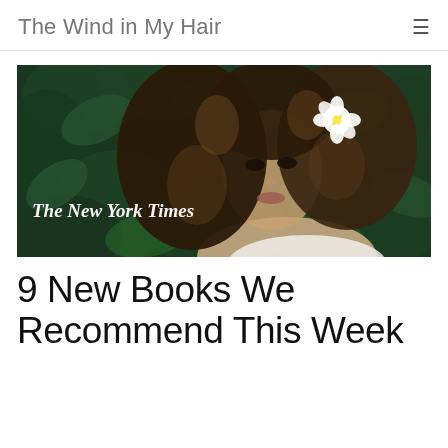The Wind in My Hair
[Figure (photo): Woman with curly hair and a white flower, surrounded by green foliage, with The New York Times watermark overlay]
9 New Books We Recommend This Week